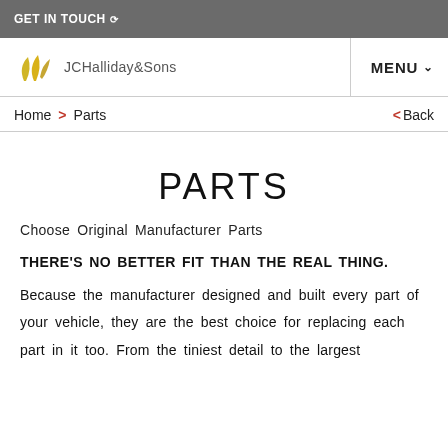GET IN TOUCH
[Figure (logo): JCHalliday & Sons logo with yellow leaf/branch graphic and company name text]
MENU
Home > Parts   < Back
PARTS
Choose Original Manufacturer Parts
THERE'S NO BETTER FIT THAN THE REAL THING.
Because the manufacturer designed and built every part of your vehicle, they are the best choice for replacing each part in it too. From the tiniest detail to the largest